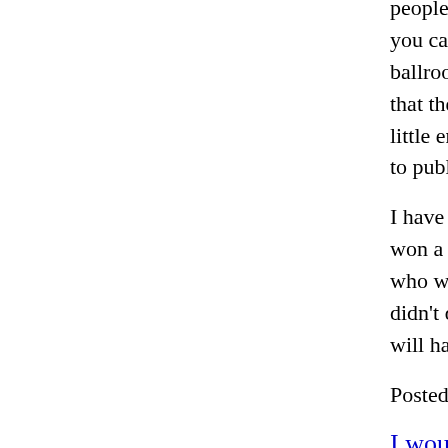people with garages full of wood lathes who you can imagine, and give them away to fri... ballroom dance lessons that never compete... that they dance. And there are people who ... little entries, shaping words into pure poet... to publishing.
I have a team with as much talent as I've ev... won a lot of games, and we've lost some. B... who we are, and by the time we get to Marc... didn't deserve. We will have won walking i... will happen.
Posted in Uncategorized | Comments Off
I would not say Benefit
Tuesday, February 8th, 2005
Last night, Jordana Mac and I, in other wor... went to a benefit for The Play Company. We... "not giving a single dollar to the organizatio... as big supporters. Mostly, we support their... talk about The Play Company, there is some... produced is the best, but every single play ...
There was a moment last night when the di... company has done so much with so little,"... $98,000 more than any show I've produce...